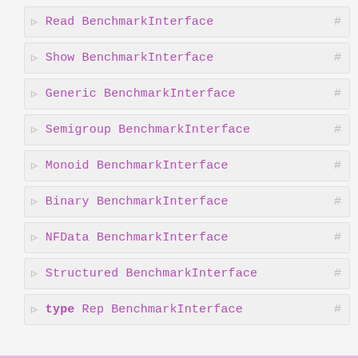▷ Read BenchmarkInterface #
▷ Show BenchmarkInterface #
▷ Generic BenchmarkInterface #
▷ Semigroup BenchmarkInterface #
▷ Monoid BenchmarkInterface #
▷ Binary BenchmarkInterface #
▷ NFData BenchmarkInterface #
▷ Structured BenchmarkInterface #
▷ type Rep BenchmarkInterface #